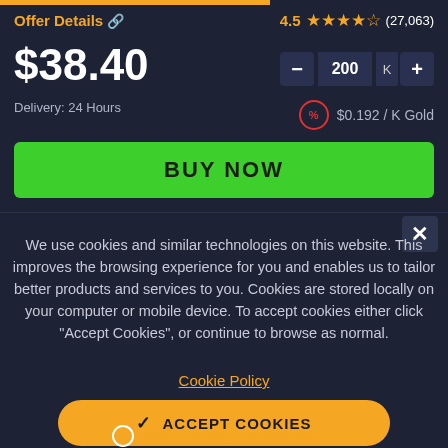Offer Details 🔗
4.5 ★★★★½ (27,063)
$38.40
Delivery: 24 Hours
200 K
$0.192 / K Gold
BUY NOW
We use cookies and similar technologies on this website. This improves the browsing experience for you and enables us to tailor better products and services to you. Cookies are stored locally on your computer or mobile device. To accept cookies either click "Accept Cookies", or continue to browse as normal.
Cookie Policy
✓ ACCEPT COOKIES
Cookie Settings and Details ▼